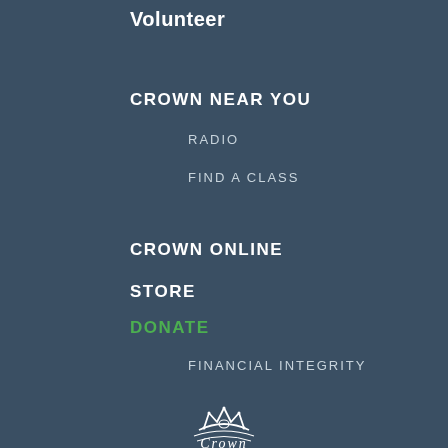Volunteer
CROWN NEAR YOU
RADIO
FIND A CLASS
CROWN ONLINE
STORE
DONATE
FINANCIAL INTEGRITY
[Figure (logo): Crown Financial Ministries logo — stylized crown with water ripple below, and 'Crown' text]